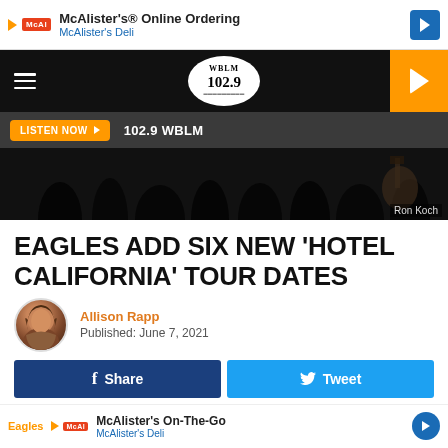[Figure (screenshot): McAlister's Online Ordering advertisement banner with logo, text, and arrow icon]
[Figure (screenshot): WBLM 102.9 radio station header with hamburger menu, station logo oval, and orange play button]
[Figure (screenshot): Listen Now button bar with orange button and 102.9 WBLM text on dark background]
[Figure (photo): Hero image of concert silhouettes with guitar visible, credit: Ron Koch]
EAGLES ADD SIX NEW ‘HOTEL CALIFORNIA’ TOUR DATES
Allison Rapp
Published: June 7, 2021
[Figure (screenshot): Social share buttons: Facebook Share (dark blue) and Tweet (Twitter blue)]
[Figure (screenshot): McAlister's On-The-Go advertisement banner with logo and arrow icon, with Eagles tag]